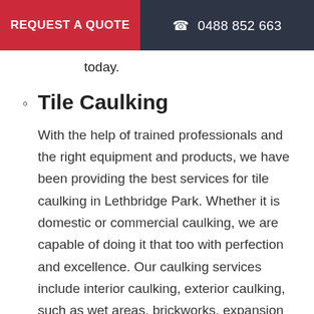REQUEST A QUOTE | ☎ 0488 852 663
today.
Tile Caulking

With the help of trained professionals and the right equipment and products, we have been providing the best services for tile caulking in Lethbridge Park. Whether it is domestic or commercial caulking, we are capable of doing it that too with perfection and excellence. Our caulking services include interior caulking, exterior caulking, such as wet areas, brickworks, expansion joints, skirting boards, windows, balconies, pools, and even natural stones. The tile caulking services in Lethbridge Park we provide help